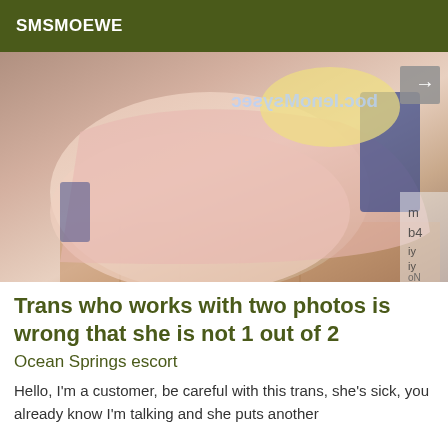SMSMOEWE
[Figure (photo): A photograph showing a person in a pink outfit with blue lace trim, blonde hair visible at top, with a watermark text overlay and a grey arrow button in the top right corner.]
Trans who works with two photos is wrong that she is not 1 out of 2
Ocean Springs escort
Hello, I'm a customer, be careful with this trans, she's sick, you already know I'm talking and she puts another